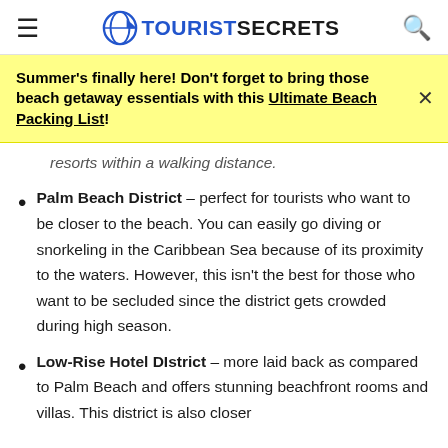TOURISTSECRETS
Summer's finally here! Don't forget to bring those beach getaway essentials with this Ultimate Beach Packing List!
resorts within a walking distance.
Palm Beach District – perfect for tourists who want to be closer to the beach. You can easily go diving or snorkeling in the Caribbean Sea because of its proximity to the waters. However, this isn't the best for those who want to be secluded since the district gets crowded during high season.
Low-Rise Hotel DIstrict – more laid back as compared to Palm Beach and offers stunning beachfront rooms and villas. This district is also closer